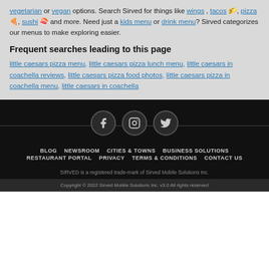vegetarian or vegan options. Search Sirved for things like wings, tacos 🌮, pizza 🍕, sushi 🍣 and more. Need just a kids menu or drink menu? Sirved categorizes our menus to make exploring easier.
Frequent searches leading to this page
little caesars pizza menu, little caesars pizza lunch menu, little caesars in coachella reviews, little caesars pizza food photos, little caesars pizza in coachella menu, little caesars in coachella
[Figure (other): Social media icons row (Facebook, Instagram, Twitter) with horizontal lines on dark background]
BLOG  NEWSROOM  CITIES & TOWNS  BUSINESS SOLUTIONS  RESTAURANT PORTAL  PRIVACY  TERMS & CONDITIONS  CONTACT US
SIRVED is a registered trade-mark of Sirved Mobile Solutions Inc.
Copyright © 2022 Sirved Mobile Solutions Inc. v3.0 All rights reserved